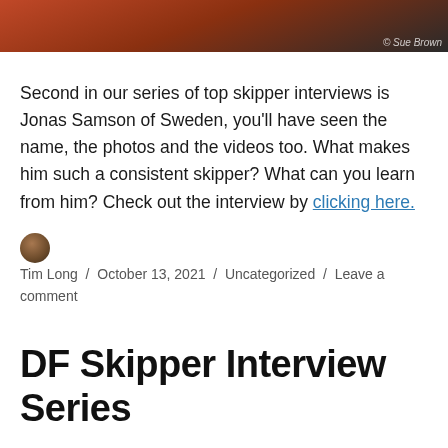[Figure (photo): Partial photo of a person in a red jacket, cropped at the top. Photo credit: © Sue Brown]
Second in our series of top skipper interviews is Jonas Samson of Sweden, you'll have seen the name, the photos and the videos too. What makes him such a consistent skipper? What can you learn from him? Check out the interview by clicking here.
Tim Long / October 13, 2021 / Uncategorized / Leave a comment
DF Skipper Interview Series
We've given DFICA Chairman the job of interviewing as many top DF skippers worldwide as he can so that you can better your sailing and boat setup at events